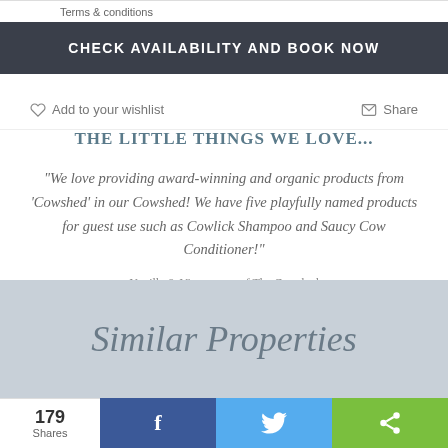Terms & conditions
CHECK AVAILABILITY AND BOOK NOW
♡ Add to your wishlist
✉ Share
THE LITTLE THINGS WE LOVE...
"We love providing award-winning and organic products from 'Cowshed' in our Cowshed! We have five playfully named products for guest use such as Cowlick Shampoo and Saucy Cow Conditioner!"
Neville & Viv, owners of The Cowshed
Similar Properties
179 Shares
f
🐦
< >